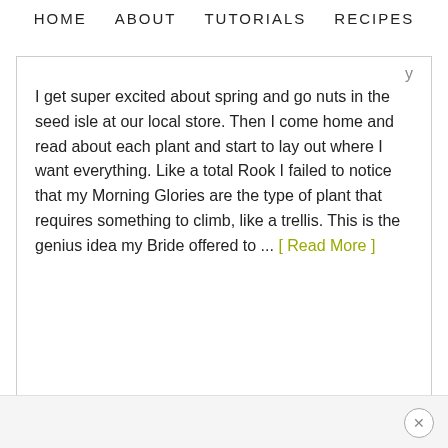HOME   ABOUT   TUTORIALS   RECIPES
y
I get super excited about spring and go nuts in the seed isle at our local store.  Then I come home and read about each plant and start to lay out where I want everything.   Like a total Rook I failed to notice that my Morning Glories are the type of plant that requires something to climb, like a trellis.  This is the genius idea my Bride offered to ... [ Read More ]